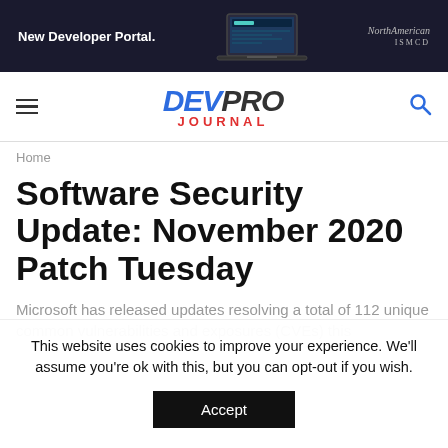[Figure (screenshot): Advertisement banner with dark background showing 'New Developer Portal.' text, laptop illustration, and NorthAmerican logo]
DEVPRO JOURNAL
Home
Software Security Update: November 2020 Patch Tuesday
Microsoft has released updates resolving a total of 112 unique common vulnerabilities and exposures (CVEs) this
This website uses cookies to improve your experience. We'll assume you're ok with this, but you can opt-out if you wish. Accept